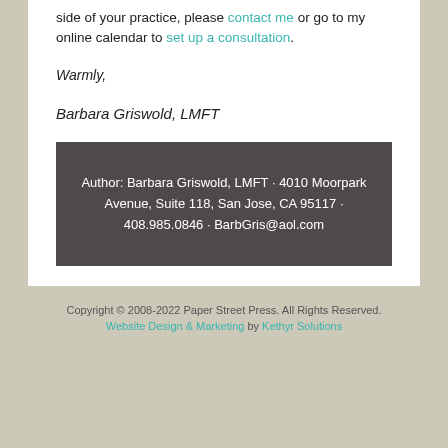side of your practice, please contact me or go to my online calendar to set up a consultation.
Warmly,
Barbara Griswold, LMFT
Author: Barbara Griswold, LMFT · 4010 Moorpark Avenue, Suite 118, San Jose, CA 95117 · 408.985.0846 · BarbGris@aol.com
Copyright © 2008-2022 Paper Street Press. All Rights Reserved. Website Design & Marketing by Kethyr Solutions